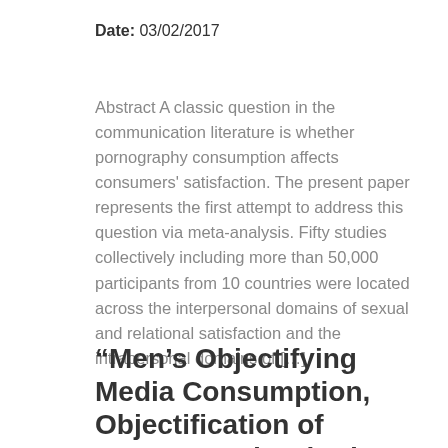Date: 03/02/2017
Abstract A classic question in the communication literature is whether pornography consumption affects consumers' satisfaction. The present paper represents the first attempt to address this question via meta-analysis. Fifty studies collectively including more than 50,000 participants from 10 countries were located across the interpersonal domains of sexual and relational satisfaction and the intrapersonal domains of […]
“Men’s Objectifying Media Consumption, Objectification of Women, and Attitudes Supportive of Violence